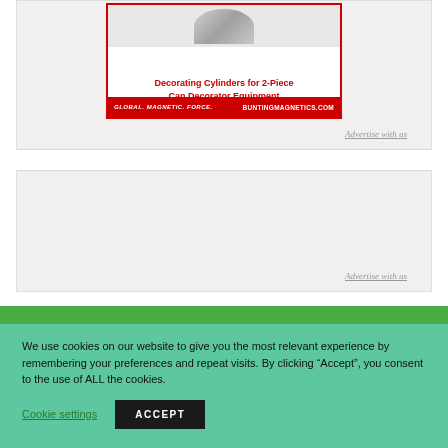[Figure (advertisement): Bunting Magnetics advertisement for Decorating Cylinders for 2-Piece Can Decorator Equipment, with email Newton@BuntingMagnetics.com and website BuntingMagnetics.com]
Advertise with us
[Figure (other): Empty advertisement placeholder box with Advertise with us link]
Advertise with us
We use cookies on our website to give you the most relevant experience by remembering your preferences and repeat visits. By clicking “Accept”, you consent to the use of ALL the cookies.
Cookie settings
ACCEPT